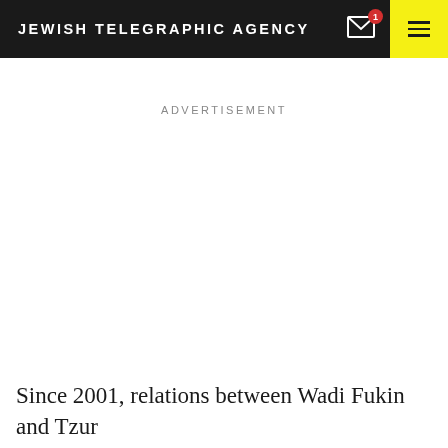JEWISH TELEGRAPHIC AGENCY
ADVERTISEMENT
Since 2001, relations between Wadi Fukin and Tzur